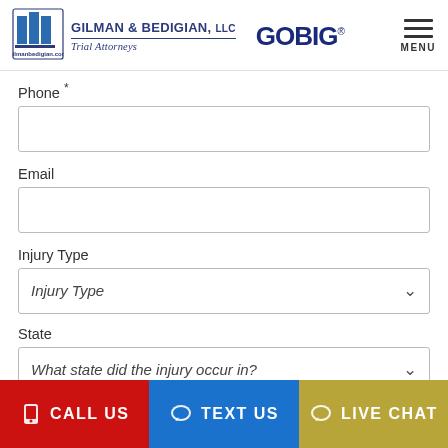Gilman & Bedigian, LLC Trial Attorneys | GOBIG | MENU
Phone *
Email
Injury Type
State
Comments/Questions *